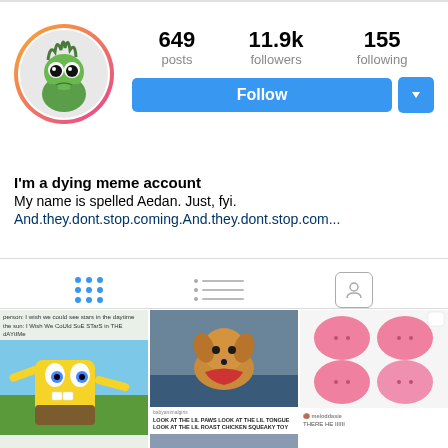[Figure (screenshot): Instagram profile page showing avatar with gradient border, stats (649 posts, 11.9k followers, 155 following), Follow button, bio text, tab icons, and post grid thumbnails]
649 posts  11.9k followers  155 following
Follow
I'm a dying meme account
My name is spelled Aedan. Just, fyi.
And.they.dont.stop.coming.And.they.dont.stop.com...
[Figure (photo): Post thumbnail: Mocking Spongebob meme with text 'person: I wish we could see stars in the daytime / the sun: I Wish We CoUld SuE STarS in THE dAYtIMe']
[Figure (photo): Post thumbnail: Dog photo with Tumblr post text 'LOOK AT THE LIL PAWS LOOK AT THE LIL TONGUE LOOK AT THE LIL ROAST CHICKEN SQUEAKY TOY']
[Figure (photo): Post thumbnail: Pink slime/blob toys, four pink cute cat-shaped stress toys, with text 'THERE HE IIIIIII']